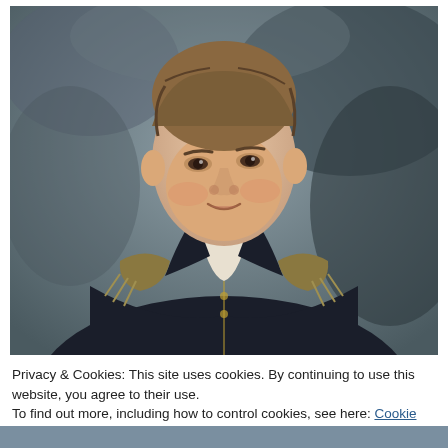[Figure (illustration): Oil portrait painting of a young man in a dark naval officer's uniform with gold epaulettes and white cravat, against a stormy grey-blue sky background. Classical style portrait, circa early 19th century.]
Privacy & Cookies: This site uses cookies. By continuing to use this website, you agree to their use.
To find out more, including how to control cookies, see here: Cookie Policy